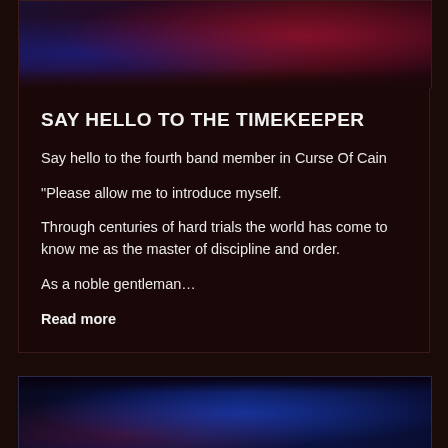[Figure (photo): Dark atmospheric photo with red and blue lighting, partial body/instrument visible]
SAY HELLO TO THE TIMEKEEPER
Say hello to the fourth band member in Curse Of Cain
“Please allow me to introduce myself.
Through centuries of hard trials the world has come to know me as the master of discipline and order.
As a noble gentleman…
Read more
[Figure (photo): Dark blue-lit atmospheric photo, appears to show a musician or instrument on stage]